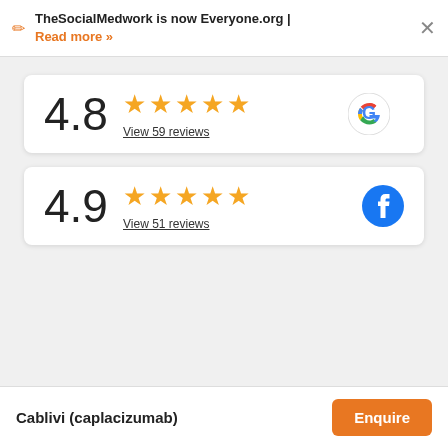TheSocialMedwork is now Everyone.org | Read more »
[Figure (infographic): Google rating card showing 4.8 stars with 5 gold stars and View 59 reviews link, with Google logo]
[Figure (infographic): Facebook rating card showing 4.9 stars with 5 gold stars and View 51 reviews link, with Facebook logo]
Cablivi (caplacizumab)
Enquire